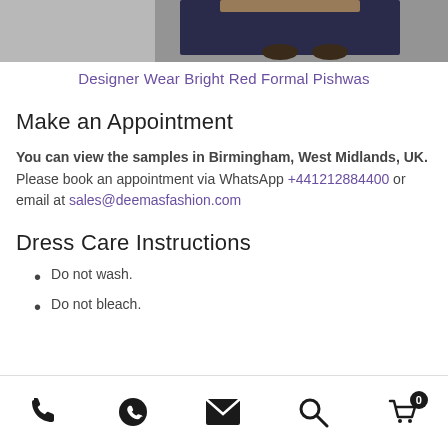[Figure (photo): Bottom portion of a fashion product photo showing feet/shoes area with dark blue garment]
Designer Wear Bright Red Formal Pishwas
Make an Appointment
You can view the samples in Birmingham, West Midlands, UK. Please book an appointment via WhatsApp +441212884400 or email at sales@deemasfashion.com
Dress Care Instructions
Do not wash.
Do not bleach.
Phone | WhatsApp | Email | Search | Cart (0)